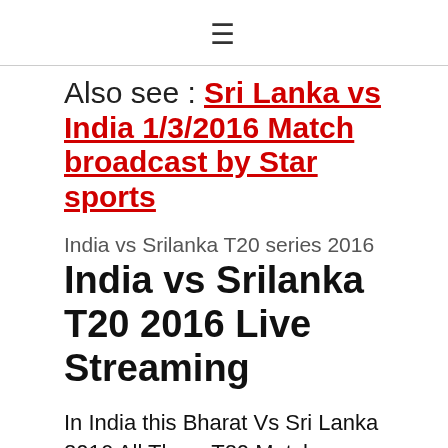≡
Also see : Sri Lanka vs India 1/3/2016 Match broadcast by Star sports
India vs Srilanka T20 series 2016
India vs Srilanka T20 2016 Live Streaming
In India this Bharat Vs Sri Lanka 2016 All Three T20 Matches Broadcast Live